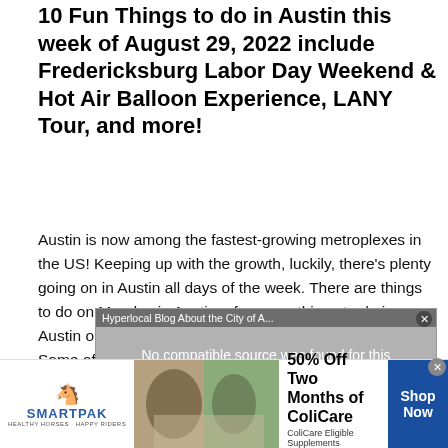10 Fun Things to do in Austin this week of August 29, 2022 include Fredericksburg Labor Day Weekend & Hot Air Balloon Experience, LANY Tour, and more!
Austin is now among the fastest-growing metroplexes in the US! Keeping up with the growth, luckily, there's plenty going on in Austin all days of the week. There are things to do on Monday in Austin, of course, things to do in Austin on Saturday night, and everything in between! Some of you may be […]
[Figure (screenshot): Video player with grey background showing error message: 'No compatible source was found for this media.' with title bar 'Hyperlocal Blog About the City of A...' and close button]
[Figure (infographic): SmartPak advertisement banner showing horse and rider image, '50% Off Two Months of ColiCare, ColiCare Eligible Supplements, CODE: COLICARE10', with Shop Now button]